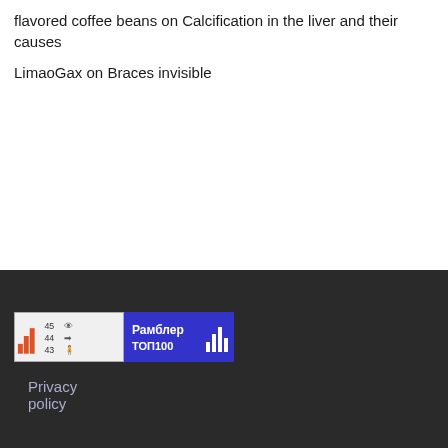flavored coffee beans on Calcification in the liver and their causes
LimaoGax on Braces invisible
[Figure (logo): LiveInternet statistics badge showing numbers 45, 44, 43 with eye, arrow, person icons and bar chart icon]
[Figure (logo): Rambler TOP100 badge with blue background and bar chart icon]
Privacy policy